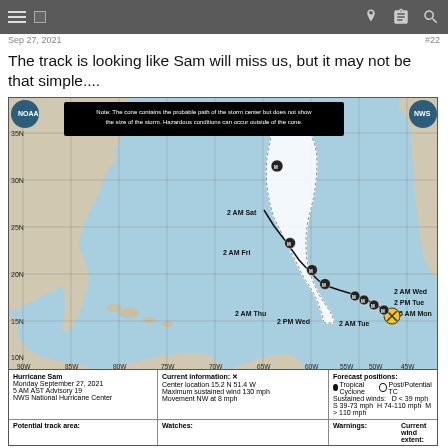Sep 27, 2021  #22
The track is looking like Sam will miss us, but it may not be that simple....
[Figure (map): NWS National Hurricane Center forecast track map for Hurricane Sam, showing cone of uncertainty from current position near 15N 51W northwestward then curving north-northeast. Forecast positions labeled: 5 AM Mon, 2 AM Tue, 2 PM Wed, 2 AM Thu, 2 AM Fri (with cone), 2 AM Sat (M). Latitude lines 35N, 30N, 25N, 20N, 15N, 10N. Longitude lines 90W through 35W.]
| Hurricane Sam | Current information: ✕ | Forecast positions: |
| --- | --- | --- |
| Monday September 27, 2021 | Center location 15.2 N 51.4 W | ● Tropical Cyclone  ○ Post/Potential TC |
| 5 AM AST Advisory 19 | Maximum sustained wind 130 mph | Sustained winds:   D < 39 mph |
| NWS National Hurricane Center | Movement NW at 8 mph | S 39-73 mph  H 74-110 mph  M > 110 mph |
| Potential track area: | Watches: | Warnings: | Current wind extent: |
| --- | --- | --- | --- |